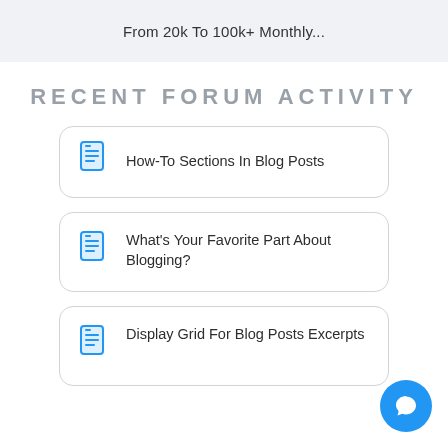From 20k To 100k+ Monthly...
RECENT FORUM ACTIVITY
How-To Sections In Blog Posts
What's Your Favorite Part About Blogging?
Display Grid For Blog Posts Excerpts